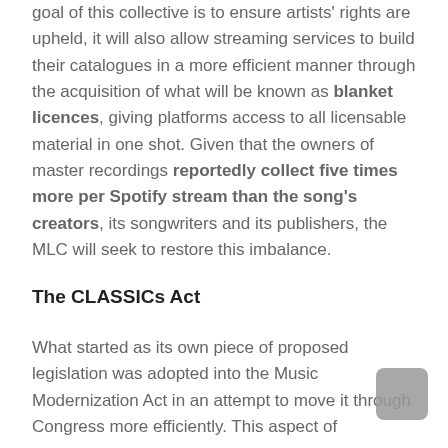goal of this collective is to ensure artists' rights are upheld, it will also allow streaming services to build their catalogues in a more efficient manner through the acquisition of what will be known as blanket licences, giving platforms access to all licensable material in one shot. Given that the owners of master recordings reportedly collect five times more per Spotify stream than the song's creators, its songwriters and its publishers, the MLC will seek to restore this imbalance.
The CLASSICs Act
What started as its own piece of proposed legislation was adopted into the Music Modernization Act in an attempt to move it through Congress more efficiently. This aspect of the Act...